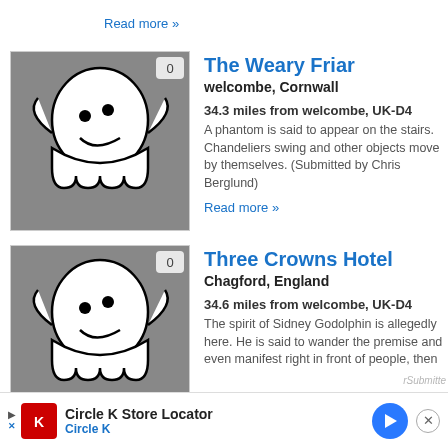Read more »
The Weary Friar
welcombe, Cornwall
34.3 miles from welcombe, UK-D4
A phantom is said to appear on the stairs. Chandeliers swing and other objects move by themselves. (Submitted by Chris Berglund)
Read more »
Three Crowns Hotel
Chagford, England
34.6 miles from welcombe, UK-D4
The spirit of Sidney Godolphin is allegedly here. He is said to wander the premise and even manifest right in front of people, then
Circle K Store Locator
Circle K